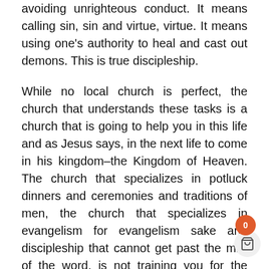avoiding unrighteous conduct. It means calling sin, sin and virtue, virtue. It means using one's authority to heal and cast out demons. This is true discipleship.
While no local church is perfect, the church that understands these tasks is a church that is going to help you in this life and as Jesus says, in the next life to come in his kingdom–the Kingdom of Heaven. The church that specializes in potluck dinners and ceremonies and traditions of men, the church that specializes in evangelism for evangelism sake and discipleship that cannot get past the milk of the word, is not training you for the Kingdom of Heaven at all, or is merely training you live in the Kingdom of Heaven on the lowest possible rung.